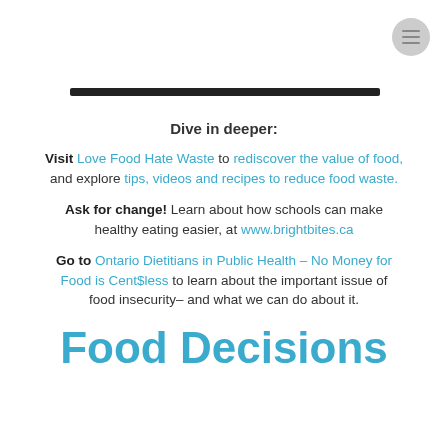[Figure (other): Hamburger menu icon button (circular gray button with three horizontal lines) in top-right corner]
[Figure (other): Black horizontal bar/divider near top of page]
Dive in deeper:
Visit Love Food Hate Waste to rediscover the value of food, and explore tips, videos and recipes to reduce food waste.
Ask for change! Learn about how schools can make healthy eating easier, at www.brightbites.ca
Go to Ontario Dietitians in Public Health – No Money for Food is Cent$less to learn about the important issue of food insecurity– and what we can do about it.
Food Decisions